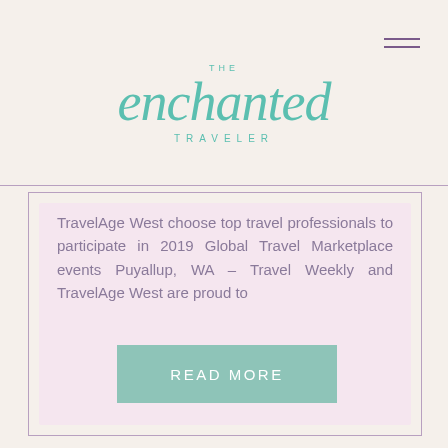[Figure (logo): The Enchanted Traveler logo in teal/mint color with script lettering]
TravelAge West choose top travel professionals to participate in 2019 Global Travel Marketplace events Puyallup, WA – Travel Weekly and TravelAge West are proud to
READ MORE